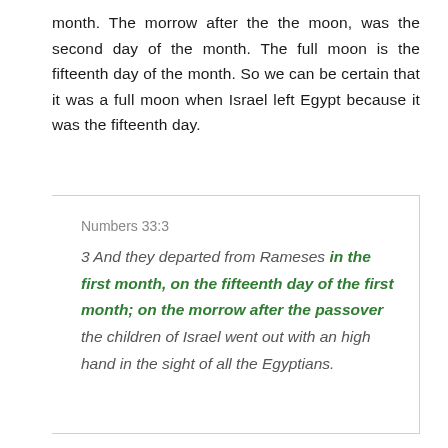month. The morrow after the the moon, was the second day of the month. The full moon is the fifteenth day of the month. So we can be certain that it was a full moon when Israel left Egypt because it was the fifteenth day.
Numbers 33:3
3 And they departed from Rameses in the first month, on the fifteenth day of the first month; on the morrow after the passover the children of Israel went out with an high hand in the sight of all the Egyptians.